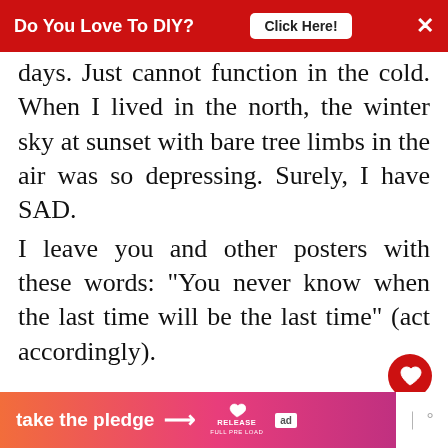[Figure (screenshot): Red top advertisement banner: 'Do You Love To DIY? Click Here!' with X close button]
days. Just cannot function in the cold. When I lived in the north, the winter sky at sunset with bare tree limbs in the air was so depressing. Surely, I have SAD.
I leave you and other posters with these words: "You never know when the last time will be the last time" (act accordingly).
REPLY DELETE
▼  REPLIES
[Figure (screenshot): WHAT'S NEXT panel with thumbnail and text: Easy DIY Mother's Da...]
Kim
[Figure (screenshot): Bottom advertisement banner: take the pledge → RELEASE [ad icon]]